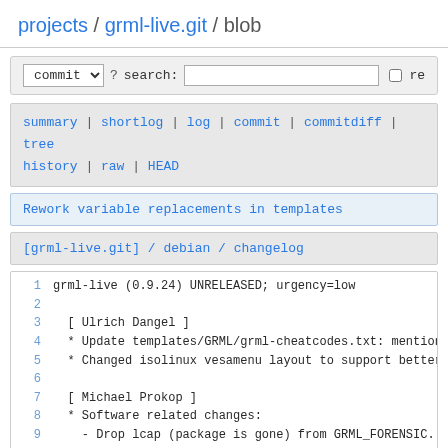projects / grml-live.git / blob
commit  ? search:   re
summary | shortlog | log | commit | commitdiff | tree history | raw | HEAD
Rework variable replacements in templates
[grml-live.git] / debian / changelog
1  grml-live (0.9.24) UNRELEASED; urgency=low
2
3    [ Ulrich Dangel ]
4    * Update templates/GRML/grml-cheatcodes.txt: mention m
5    * Changed isolinux vesamenu layout to support better m
6
7    [ Michael Prokop ]
8    * Software related changes:
9      - Drop lcap (package is gone) from GRML_FORENSIC.
10     - Drop isic + lcap (packages gone) from GRML_FULL.